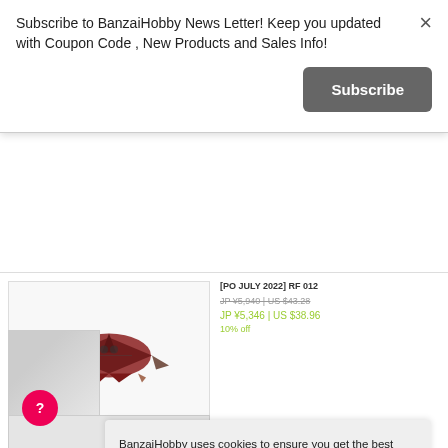Subscribe to BanzaiHobby News Letter! Keep you updated with Coupon Code , New Products and Sales Info!
[Figure (screenshot): Close button (×) in top right of newsletter modal]
[Figure (other): Subscribe button (dark grey rounded rectangle)]
[Figure (photo): Product image: red spacecraft/jet model on white background]
[PO JULY 2022] RF 012
JP ¥5,940 | US $43.28
JP ¥5,346 | US $38.96
10% off
BanzaiHobby uses cookies to ensure you get the best experience on our website. Further information about cookies please visit
Privacy Policy
[Figure (other): Got it! button (green rounded rectangle)]